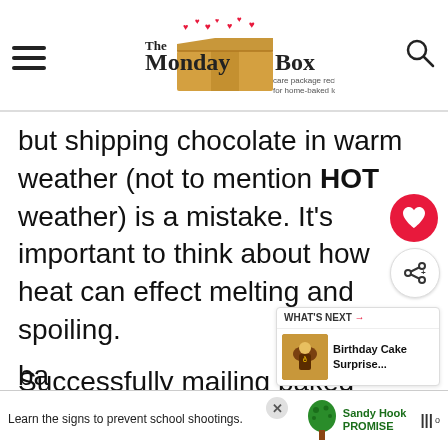The Monday Box — care package recipes for home-baked love
but shipping chocolate in warm weather (not to mention HOT weather) is a mistake. It's important to think about how heat can effect melting and spoiling.
Successfully mailing baked goods in the summer months is easy with the recipes using ingredients that are least likely to melt or to spoil. There are dozens of Monday Box that were developed especially for shipping ba…